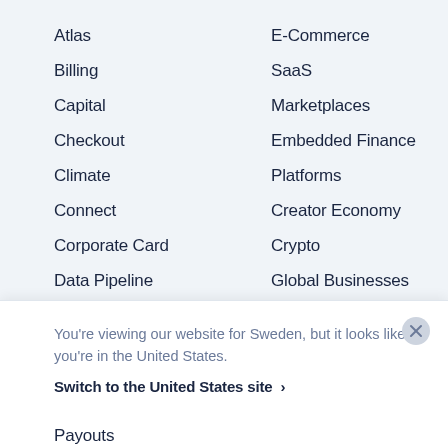Atlas
Billing
Capital
Checkout
Climate
Connect
Corporate Card
Data Pipeline
Elements
Financial Connections
Identity
E-Commerce
SaaS
Marketplaces
Embedded Finance
Platforms
Creator Economy
Crypto
Global Businesses
Integrations & Custom Solutions
You're viewing our website for Sweden, but it looks like you're in the United States.
Switch to the United States site ›
Payouts